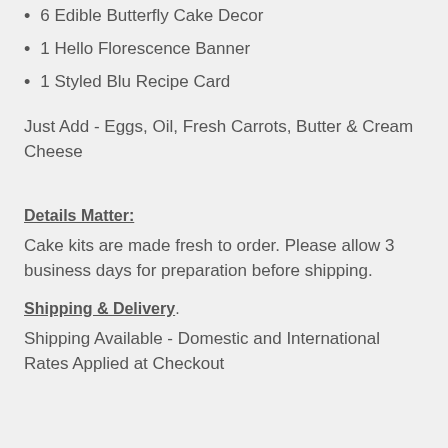6 Edible Butterfly Cake Decor
1 Hello Florescence Banner
1 Styled Blu Recipe Card
Just Add - Eggs, Oil, Fresh Carrots, Butter & Cream Cheese
Details Matter:
Cake kits are made fresh to order. Please allow 3 business days for preparation before shipping.
Shipping & Delivery
Shipping Available - Domestic and International Rates Applied at Checkout